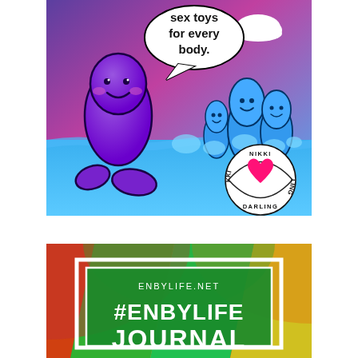[Figure (illustration): Cartoon illustration with gradient sky background (blue to purple to pink). A cute purple cartoon vibrator character with a face stands on the left, with a speech bubble saying 'sex toys for every body.' Several cute blue cartoon characters (also vibrators/toys) cluster on the right side in water. A white cloud is in the upper right. Bottom right has a circular logo reading 'NIKKI DARLING' with a pink heart.]
[Figure (illustration): Colorful rainbow mosaic/stained-glass pattern background with greens, reds, oranges, yellows. Overlaid white bordered green rectangle containing text: 'ENBYLIFE.NET' in small caps and '#ENBYLIFE JOURNAL' in large bold white letters.]